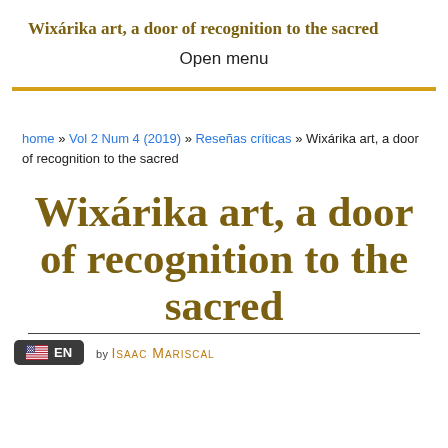Wixárika art, a door of recognition to the sacred
Open menu
home » Vol 2 Num 4 (2019) » Reseñas críticas » Wixárika art, a door of recognition to the sacred
Wixárika art, a door of recognition to the sacred
BY ISAAC MARISCAL